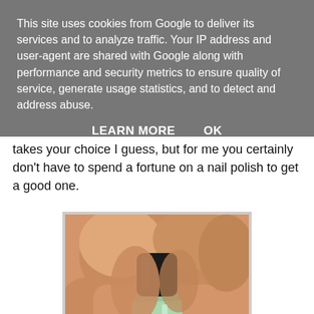This site uses cookies from Google to deliver its services and to analyze traffic. Your IP address and user-agent are shared with Google along with performance and security metrics to ensure quality of service, generate usage statistics, and to detect and address abuse.
LEARN MORE    OK
takes your choice I guess, but for me you certainly don't have to spend a fortune on a nail polish to get a good one.
[Figure (photo): A hand holding a small nail polish bottle with a black cap and mint green/turquoise body with 'essie' branding visible on the label.]